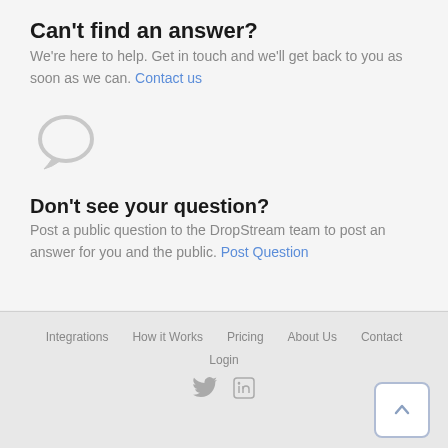Can't find an answer?
We're here to help. Get in touch and we'll get back to you as soon as we can. Contact us
[Figure (illustration): Speech bubble / chat icon in light gray]
Don't see your question?
Post a public question to the DropStream team to post an answer for you and the public. Post Question
Integrations   How it Works   Pricing   About Us   Contact   Login